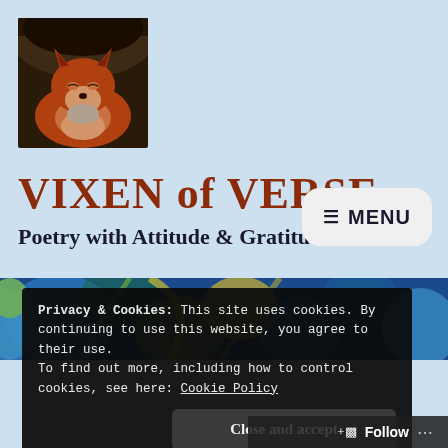[Figure (photo): A red fox curled up in a hollow, viewed from the front, resting with eyes nearly closed]
VIXEN of VERSE
Poetry with Attitude & Gratitude
[Figure (other): MENU button with hamburger icon in rounded rectangle]
[Figure (illustration): Colorful swirling abstract art banner strip in blues, yellows, and greens]
Privacy & Cookies: This site uses cookies. By continuing to use this website, you agree to their use.
To find out more, including how to control cookies, see here: Cookie Policy
Close and accept
Follow